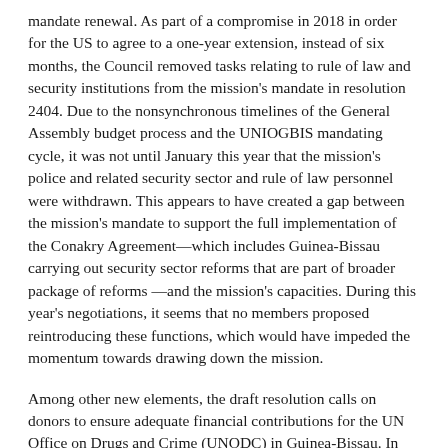mandate renewal. As part of a compromise in 2018 in order for the US to agree to a one-year extension, instead of six months, the Council removed tasks relating to rule of law and security institutions from the mission's mandate in resolution 2404. Due to the nonsynchronous timelines of the General Assembly budget process and the UNIOGBIS mandating cycle, it was not until January this year that the mission's police and related security sector and rule of law personnel were withdrawn. This appears to have created a gap between the mission's mandate to support the full implementation of the Conakry Agreement—which includes Guinea-Bissau carrying out security sector reforms that are part of broader package of reforms —and the mission's capacities. During this year's negotiations, it seems that no members proposed reintroducing these functions, which would have impeded the momentum towards drawing down the mission.
Among other new elements, the draft resolution calls on donors to ensure adequate financial contributions for the UN Office on Drugs and Crime (UNODC) in Guinea-Bissau. In recent years, the Council has requested UNIOGBIS to collaborate with UNODC to guarantee sufficient staffing for the UNODC office in Bissau. Shortfalls in UNODC's largely voluntary funding have impeded its ability to scale up its presence, which the new language, proposed by Belgium, sought to acknowledge.